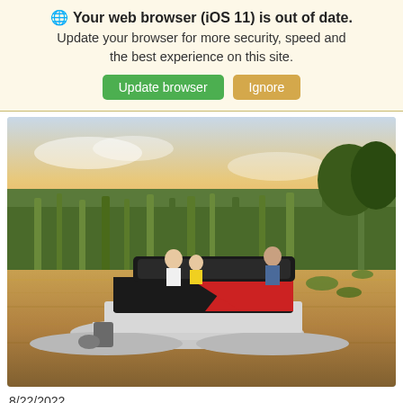Your web browser (iOS 11) is out of date.
Update your browser for more security, speed and the best experience on this site.
[Figure (screenshot): A red and black pontoon boat with passengers on a calm lake at sunset, surrounded by green marsh reeds and lily pads. The sky is golden with soft clouds.]
8/22/2022
Godfrey Pontoons Launches the Mighty C...